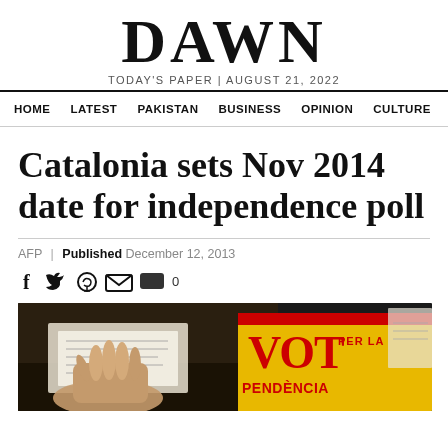DAWN — TODAY'S PAPER | AUGUST 21, 2022
HOME  LATEST  PAKISTAN  BUSINESS  OPINION  CULTURE
Catalonia sets Nov 2014 date for independence poll
AFP | Published December 12, 2013
[Figure (photo): Photograph showing hands over documents on a table with a yellow 'VOT PER LA INDEPENDÈNCIA' sign/pamphlet visible in the foreground]